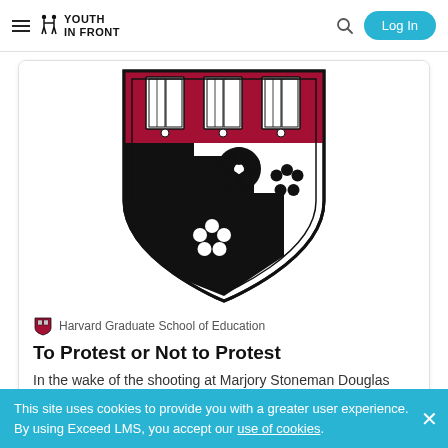Youth In Front — navigation bar with hamburger menu, logo, search icon, Log In button
[Figure (illustration): Harvard Graduate School of Education shield/crest showing open books on crimson top half and black staircase pattern with flower motifs on white bottom half]
Harvard Graduate School of Education
To Protest or Not to Protest
In the wake of the shooting at Marjory Stoneman Douglas High School in Parkland, Florida in February, students have
This site uses cookies to provide you with a greater user experience. By using Exceed LMS, you accept our use of cookies.